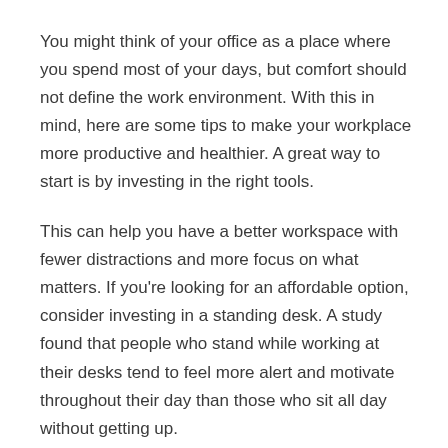You might think of your office as a place where you spend most of your days, but comfort should not define the work environment. With this in mind, here are some tips to make your workplace more productive and healthier. A great way to start is by investing in the right tools.
This can help you have a better workspace with fewer distractions and more focus on what matters. If you're looking for an affordable option, consider investing in a standing desk. A study found that people who stand while working at their desks tend to feel more alert and motivate throughout their day than those who sit all day without getting up.